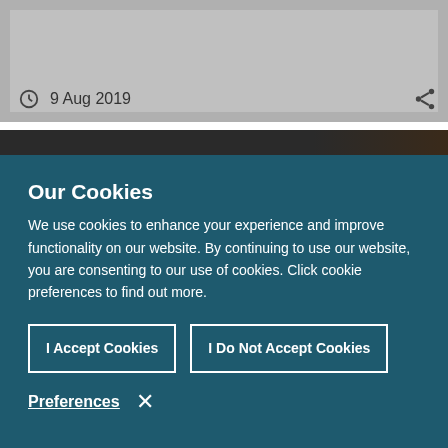[Figure (photo): Grey card or image placeholder at top of page]
9 Aug 2019
[Figure (photo): Dark photo strip showing a partial image]
Our Cookies
We use cookies to enhance your experience and improve functionality on our website. By continuing to use our website, you are consenting to our use of cookies. Click cookie preferences to find out more.
I Accept Cookies
I Do Not Accept Cookies
Preferences